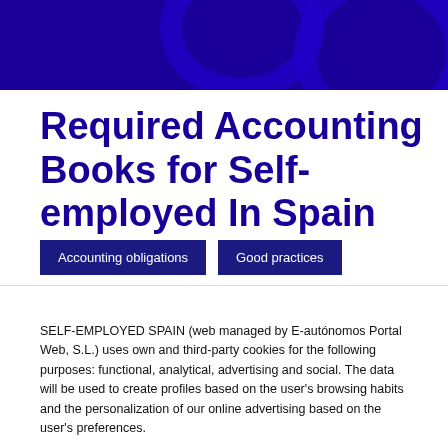[Figure (illustration): Dark navy blue header banner with decorative circular arcs]
Required Accounting Books for Self-employed In Spain
Accounting obligations   Good practices
SELF-EMPLOYED SPAIN (web managed by E-autónomos Portal Web, S.L.) uses own and third-party cookies for the following purposes: functional, analytical, advertising and social. The data will be used to create profiles based on the user's browsing habits and the personalization of our online advertising based on the user's preferences.
Cookie Settings   Accept All